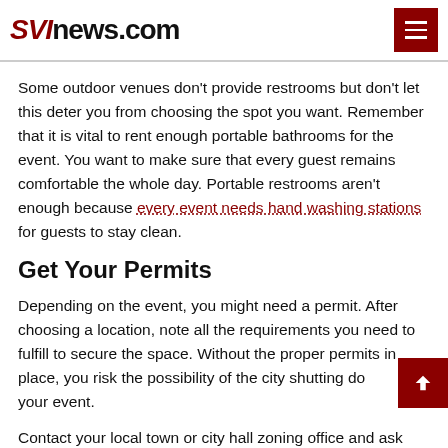SVInews.com
Some outdoor venues don't provide restrooms but don't let this deter you from choosing the spot you want. Remember that it is vital to rent enough portable bathrooms for the event. You want to make sure that every guest remains comfortable the whole day. Portable restrooms aren't enough because every event needs hand washing stations for guests to stay clean.
Get Your Permits
Depending on the event, you might need a permit. After choosing a location, note all the requirements you need to fulfill to secure the space. Without the proper permits in place, you risk the possibility of the city shutting down your event.
Contact your local town or city hall zoning office and ask